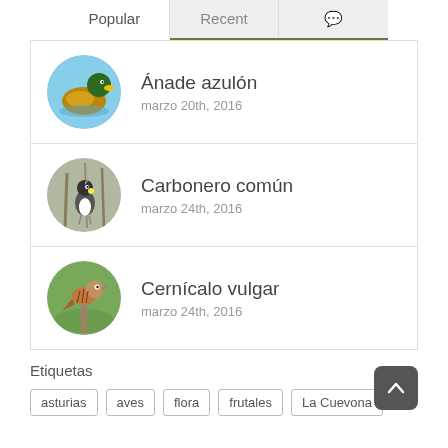Popular | Recent | [chat icon]
Ánade azulón
marzo 20th, 2016
Carbonero común
marzo 24th, 2016
Cernícalo vulgar
marzo 24th, 2016
Etiquetas
asturias
aves
flora
frutales
La Cuevona